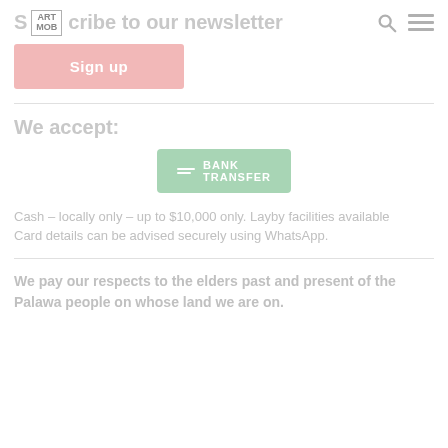Subscribe to our newsletter
Sign up
We accept:
[Figure (logo): Bank Transfer badge — green rounded rectangle with lines icon and text BANK TRANSFER]
Cash – locally only – up to $10,000 only. Layby facilities available Card details can be advised securely using WhatsApp.
We pay our respects to the elders past and present of the Palawa people on whose land we are on.